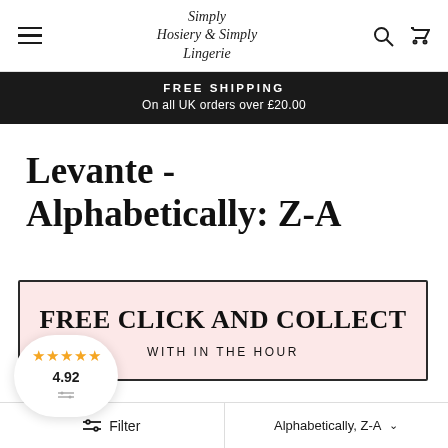Simply Hosiery & Simply Lingerie — navigation bar with hamburger menu, logo, search and cart icons
FREE SHIPPING
On all UK orders over £20.00
Levante - Alphabetically: Z-A
[Figure (infographic): Pink promo box with text: FREE CLICK AND COLLECT — WITH IN THE HOUR]
[Figure (infographic): White rounded review bubble showing 5 gold stars and score 4.92]
Filter    Alphabetically, Z-A ∨